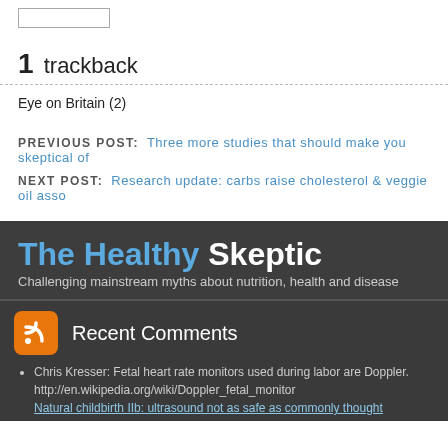1 trackback
Eye on Britain (2)
PREVIOUS POST: Three more studies that should make you skeptical of
NEXT POST: Research update: carbs raise cholesterol & veggie oil asso
The Healthy Skeptic
Challenging mainstream myths about nutrition, health and disease
Recent Comments
Latest f
Chris Kresser: Fetal heart rate monitors used during labor are Doppler. http://en.wikipedia.org/wiki/Doppler_fetal_monitor Natural childbirth IIb: ultrasound not as safe as commonly thought
Follow TheHealth